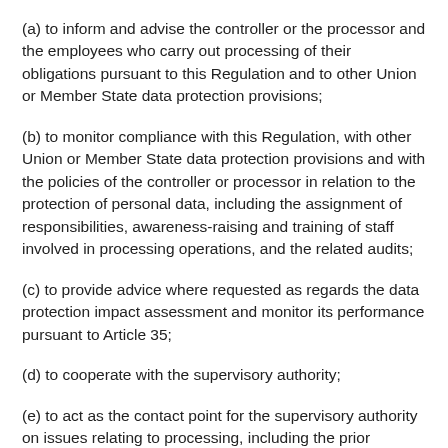(a) to inform and advise the controller or the processor and the employees who carry out processing of their obligations pursuant to this Regulation and to other Union or Member State data protection provisions;
(b) to monitor compliance with this Regulation, with other Union or Member State data protection provisions and with the policies of the controller or processor in relation to the protection of personal data, including the assignment of responsibilities, awareness-raising and training of staff involved in processing operations, and the related audits;
(c) to provide advice where requested as regards the data protection impact assessment and monitor its performance pursuant to Article 35;
(d) to cooperate with the supervisory authority;
(e) to act as the contact point for the supervisory authority on issues relating to processing, including the prior consultation referred to in Article 36, and to consult, where appropriate,